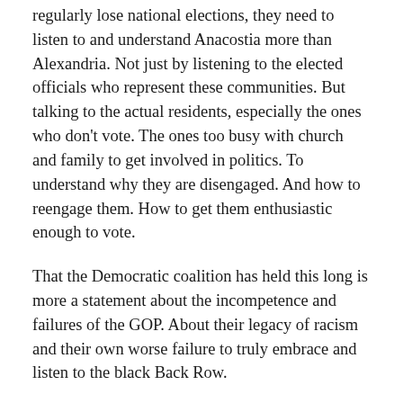regularly lose national elections, they need to listen to and understand Anacostia more than Alexandria. Not just by listening to the elected officials who represent these communities. But talking to the actual residents, especially the ones who don't vote. The ones too busy with church and family to get involved in politics. To understand why they are disengaged. And how to reengage them. How to get them enthusiastic enough to vote.
That the Democratic coalition has held this long is more a statement about the incompetence and failures of the GOP. About their legacy of racism and their own worse failure to truly embrace and listen to the black Back Row.
Given the dramatic shifts going on in US politics, that